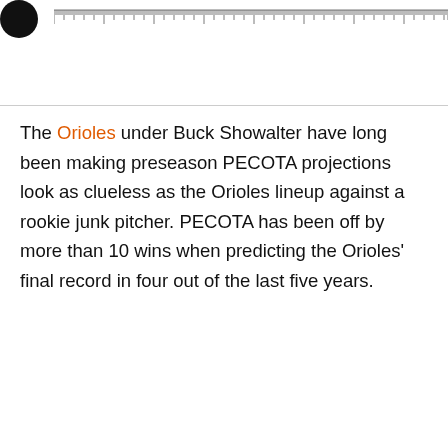[Orioles logo circle] [ruler bar]
The Orioles under Buck Showalter have long been making preseason PECOTA projections look as clueless as the Orioles lineup against a rookie junk pitcher. PECOTA has been off by more than 10 wins when predicting the Orioles' final record in four out of the last five years.